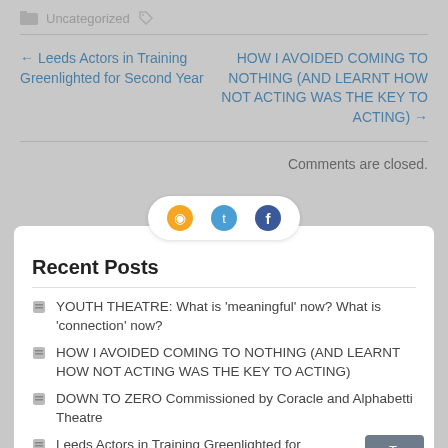Uncategorized
← Leeds Actors in Training Greenlighted for Second Year
HOW I AVOIDED COMING TO NOTHING (AND LEARNT HOW NOT ACTING WAS THE KEY TO ACTING) →
Comments are closed.
Recent Posts
YOUTH THEATRE: What is 'meaningful' now? What is 'connection' now?
HOW I AVOIDED COMING TO NOTHING (AND LEARNT HOW NOT ACTING WAS THE KEY TO ACTING)
DOWN TO ZERO Commissioned by Coracle and Alphabetti Theatre
Leeds Actors in Training Greenlighted for